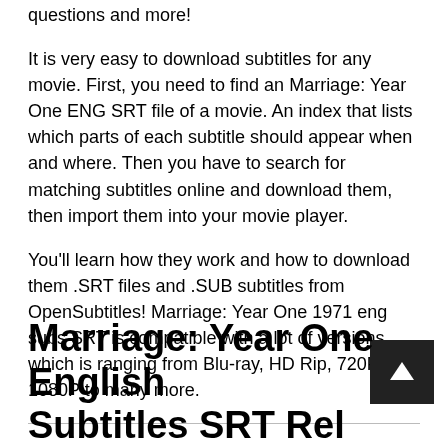questions and more!
It is very easy to download subtitles for any movie. First, you need to find an Marriage: Year One ENG SRT file of a movie. An index that lists which parts of each subtitle should appear when and where. Then you have to search for matching subtitles online and download them, then import them into your movie player.
You'll learn how they work and how to download them .SRT files and .SUB subtitles from OpenSubtitles! Marriage: Year One 1971 eng subs SRT is compatible with a lot of versions which is ranging from Blu-ray, HD Rip, 720P, 1080P to many more.
Marriage: Year One English Subtitles SRT Release